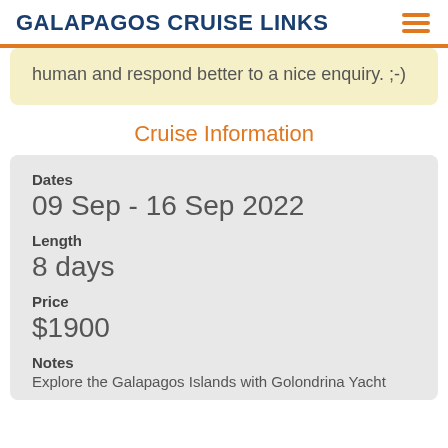GALAPAGOS CRUISE LINKS
human and respond better to a nice enquiry. ;-)
Cruise Information
Dates
09 Sep - 16 Sep 2022
Length
8 days
Price
$1900
Notes
Explore the Galapagos Islands with Golondrina Yacht